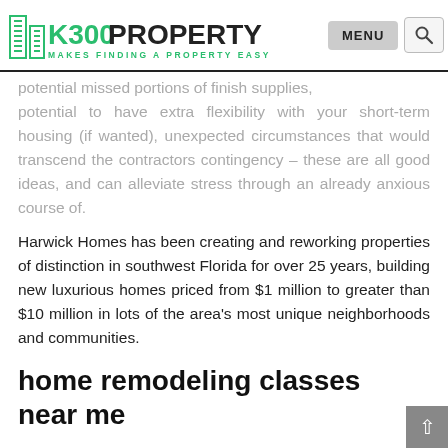K300PROPERTY — MAKES FINDING A PROPERTY EASY | MENU | Search
potential missed portions of finish supplies, potential to have extra flexibility with your short-term housing (if wanted), unexpected circumstances that would transcend the contractors contingency – these are all good ideas, and can alleviate stress through an already anxious course of.
Harwick Homes has been creating and reworking properties of distinction in southwest Florida for over 25 years, building new luxurious homes priced from $1 million to greater than $10 million in lots of the area's most unique neighborhoods and communities.
home remodeling classes near me